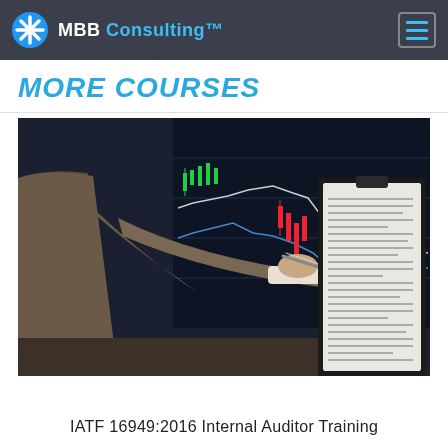MBB Consulting™
MORE COURSES
[Figure (photo): Person in business attire holding a clipboard with documents, writing with a pen. In the background is a large monitor showing financial/stock trading charts with candlestick patterns in red and green.]
IATF 16949:2016 Internal Auditor Training